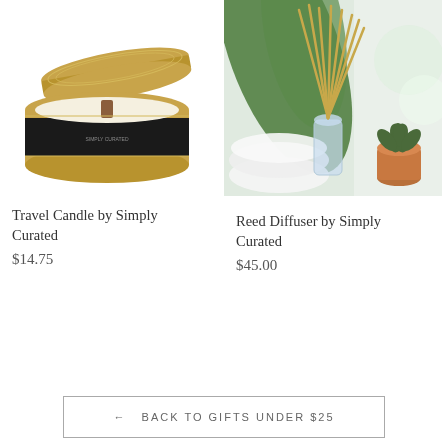[Figure (photo): Gold travel candle tin with lid off, showing wooden wick and black label, on white background]
Travel Candle by Simply Curated
$14.75
[Figure (photo): Reed diffuser with bamboo sticks in glass bottle, green plant and small succulent in terracotta pot in background]
Reed Diffuser by Simply Curated
$45.00
← BACK TO GIFTS UNDER $25